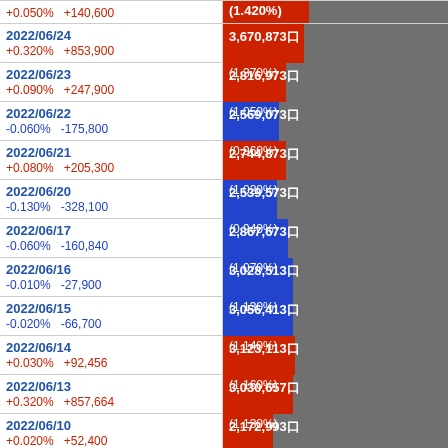| Date / Change | Volume / Ratio |
| --- | --- |
|  | +0.050%  +140,600 | (1.420%) |
| 2022/06/24 | +0.320%  +853,900 | 3,670,873口 (1.370%) |
| 2022/06/23 | +0.090%  +247,900 | 2,816,973口 (1.050%) |
| 2022/06/22 | -0.060%  -175,800 | 2,569,073口 (0.960%) |
| 2022/06/21 | +0.080%  +205,300 | 2,744,873口 (1.020%) |
| 2022/06/20 | -0.130%  -328,100 | 2,539,573口 (0.940%) |
| 2022/06/17 | -0.060%  -160,840 | 2,867,673口 (1.070%) |
| 2022/06/16 | -0.010%  -27,900 | 3,028,513口 (1.130%) |
| 2022/06/15 | -0.020%  -66,700 | 3,056,413口 (1.140%) |
| 2022/06/14 | +0.030%  +92,456 | 3,123,113口 (1.160%) |
| 2022/06/13 | +0.320%  +857,664 | 3,030,657口 (1.130%) |
| 2022/06/10 | +0.020%  +52,400 | 2,172,993口 (0.810%) |